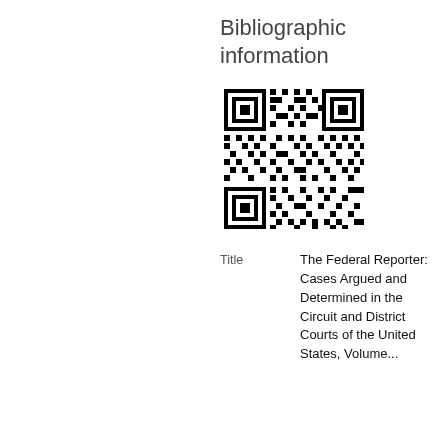Bibliographic information
[Figure (other): QR code for bibliographic information]
| Title | The Federal Reporter: Cases Argued and Determined in the Circuit and District Courts of the United States, Volume... |